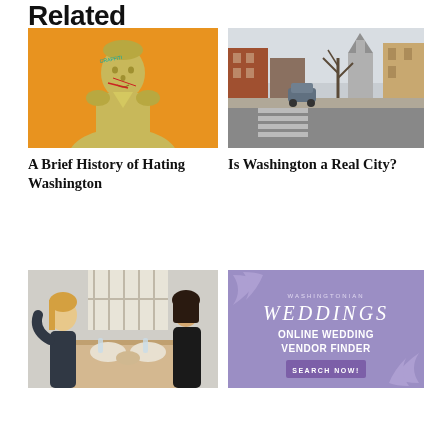Related
[Figure (photo): Golden George Washington statue with graffiti on orange background]
[Figure (photo): Street scene in Washington D.C. with brick buildings and crosswalk]
A Brief History of Hating Washington
Is Washington a Real City?
[Figure (photo): Two women dining at a restaurant table with food and drinks]
[Figure (illustration): Washingtonian Weddings Online Wedding Vendor Finder advertisement with purple background and Search Now button]